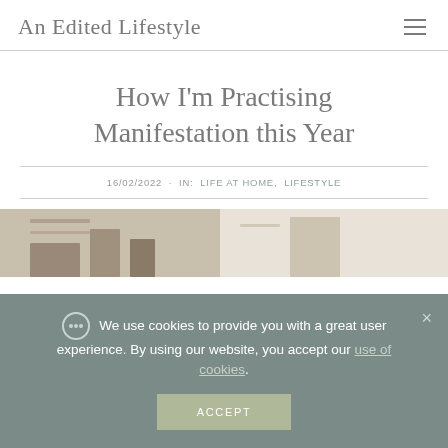An Edited Lifestyle
How I'm Practising Manifestation this Year
16/02/2022 · IN: LIFE AT HOME, LIFESTYLE
[Figure (photo): Partial view of decorative shelves or desk arrangement with books and objects]
We use cookies to provide you with a great user experience. By using our website, you accept our use of cookies.